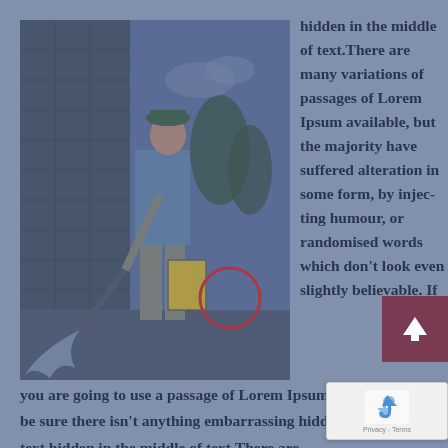[Figure (photo): A worker in blue shirt and grey pants using a pressure washer / power sprayer on a dark brick building exterior. A red circle is drawn around an object near the bottom of the image. The photo has a blue-grey overlay tint.]
hidden in the middle of text.There are many variations of passages of Lorem Ipsum available, but the majority have suffered alteration in some form, by injecting humour, or randomised words which don't look even slightly believable. If you are going to use a passage of Lorem Ipsum, you need to be sure there isn't anything embarrassing hidden in middle of text.hidden in the middle of text.There are
[Figure (infographic): A dark red/maroon square button with a white upward arrow icon in the center.]
[Figure (screenshot): reCAPTCHA widget showing the reCaptcha logo/icon with Privacy - Terms text below.]